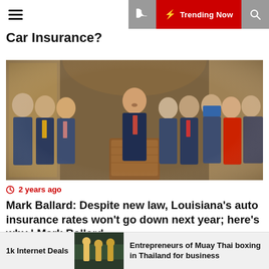☰ 🌙 ⚡ Trending Now 🔍
Car Insurance?
[Figure (photo): Group of people in suits standing behind a wooden podium at a press conference inside an ornate building. One person speaks at the microphone while others stand behind him.]
2 years ago
Mark Ballard: Despite new law, Louisiana's auto insurance rates won't go down next year; here's why | Mark Ballard
1k Internet Deals
[Figure (photo): Small thumbnail image showing people working or in an industrial setting, likely related to Muay Thai boxing in Thailand]
Entrepreneurs of Muay Thai boxing in Thailand for business